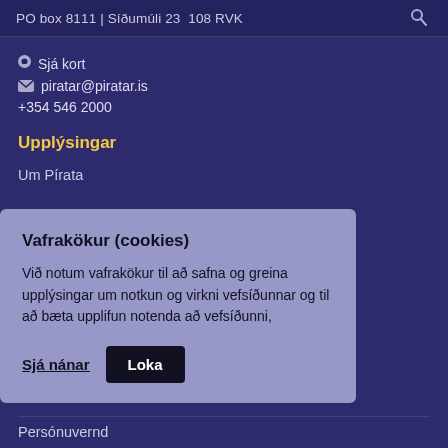PO box 8111 | Síðumúli 23  108 RVK
Sjá kort
piratar@piratar.is
+354 546 2000
Upplýsingar
Um Pírata
Vafrakökur (cookies)

Við notum vafrakökur til að safna og greina upplýsingar um notkun og virkni vefsíðunnar og til að bæta upplifun notenda að vefsíðunni,
Sjá nánar
Loka
Persónuvernd